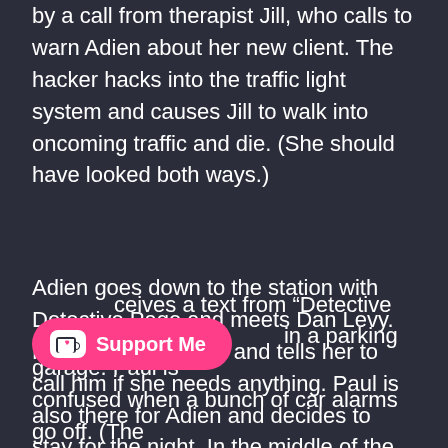by a call from therapist Jill, who calls to warn Adien about her new client. The hacker hacks into the traffic light system and causes Jill to walk into oncoming traffic and die. (She should have looked both ways.)
Adien goes down to the station with Detective Page and meets Dan Levy. He give her his card and tells her to call him if she needs anything. Paul is also there for Adien and decides to stay for the night. In the middle of the night the stalker breaks in and lays in bed with Adien. She gets spooked and runs around her apartment, screaming. For some unexplained reason, she asks Paul to leave, so she can be alone with the stalker.
[Figure (other): Pink 'Support Me' button with a Ko-fi cup icon overlaid on the text content]
ceives a text from “Detective in a parking garage. Paul is confused when a bunch of car alarms go off. (The